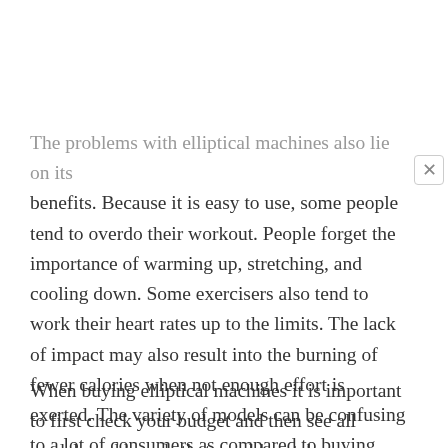The problems with elliptical machines also lie on its benefits. Because it is easy to use, some people tend to overdo their workout. People forget the importance of warming up, stretching, and cooling down. Some exercisers also tend to work their heart rates up to the limits. The lack of impact may also result into the burning of fewer calories when not enough effort is exerted. The variety of models can be confusing to a lot of consumers as compared to buying more basic machines like the treadmill, where the only concern is for it to allow one to run continually.
When buying elliptical machines it is important to first check your budget and then see all models and brands that would match your funds. You should then check the